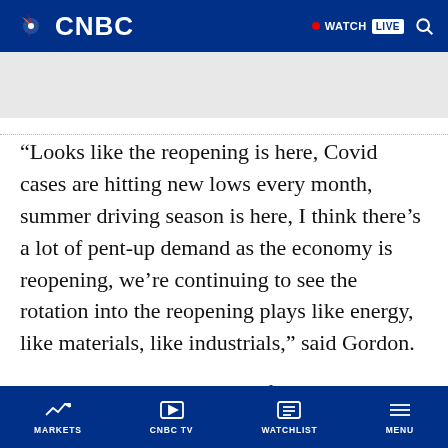CNBC | WATCH LIVE
“Looks like the reopening is here, Covid cases are hitting new lows every month, summer driving season is here, I think there’s a lot of pent-up demand as the economy is reopening, we’re continuing to see the rotation into the reopening plays like energy, like materials, like industrials,” said Gordon.
The XLE energy ETF is by far the best-
MARKETS | CNBC TV | WATCHLIST | MENU